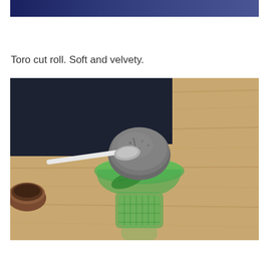[Figure (photo): Partial view of a dark blue bowl/plate top edge against a white background — cropped top portion of a food photograph]
Toro cut roll. Soft and velvety.
[Figure (photo): A scoop of dark grey/black sesame ice cream in a green glass dessert cup with a spoon, placed on a wooden table with a dark background and a small brown bowl visible on the left side]